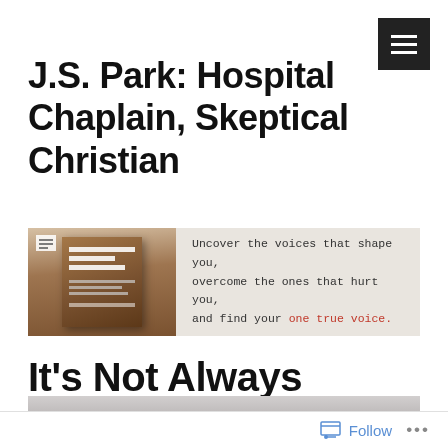J.S. Park: Hospital Chaplain, Skeptical Christian
[Figure (illustration): Book advertisement banner with a brown book cover image on the left and typewriter-font text on the right reading: 'Uncover the voices that shape you, overcome the ones that hurt you, and find your one true voice.' The phrase 'one true voice.' is in red.]
It's Not Always Persecution
[Figure (photo): Partial grayscale image, appears to be a textured or blurred background photo, partially visible at the bottom of the page.]
Follow ...